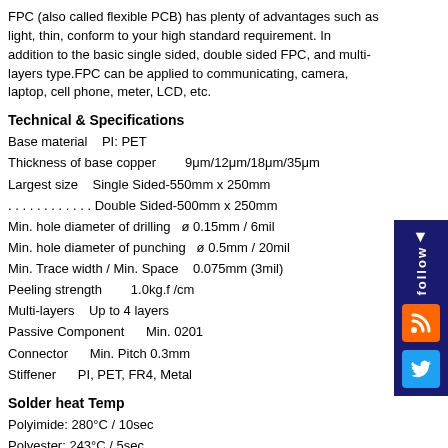FPC (also called flexible PCB) has plenty of advantages such as light, thin, conform to your high standard requirement. In addition to the basic single sided, double sided FPC, and multi-layers type.FPC can be applied to communicating, camera, laptop, cell phone, meter, LCD, etc.
Technical & Specifications
Base material   PI: PET
Thickness of base copper        9μm/12μm/18μm/35μm
Largest size    Single Sided-550mm x 250mm
. . . . . . . . . . . .  Double Sided-500mm x 250mm
Min. hole diameter of drilling  ø 0.15mm / 6mil
Min. hole diameter of punching  ø 0.5mm / 20mil
Min. Trace width / Min. Space   0.075mm (3mil)
Peeling strength        1.0kg.f /cm
Multi-layers    Up to 4 layers
Passive Component       Min. 0201
Connector       Min. Pitch 0.3mm
Stiffener       PI, PET, FR4, Metal
Solder heat Temp
Polyimide: 280°C / 10sec
Polyester: 243°C / 5sec
Surface Treatment
Gold plating: 1μ"~10μ" (Ni:1μ"~9.85μ" + Au:0.05μ"~0.15μ")
Immersion Gold: 1μ"~5μ"